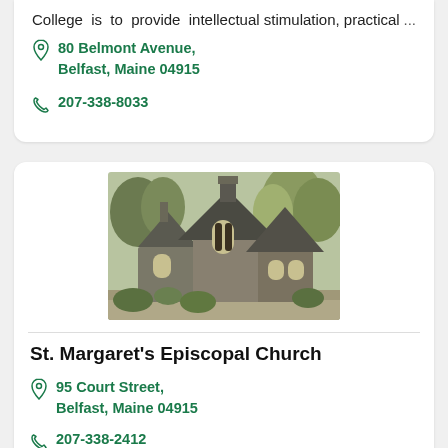College is to provide intellectual stimulation, practical ...
80 Belmont Avenue, Belfast, Maine 04915
207-338-8033
[Figure (photo): Photo of St. Margaret's Episcopal Church building, a Gothic-style stone/shingle church with steep roof peaks and trees in background]
St. Margaret's Episcopal Church
95 Court Street, Belfast, Maine 04915
207-338-2412